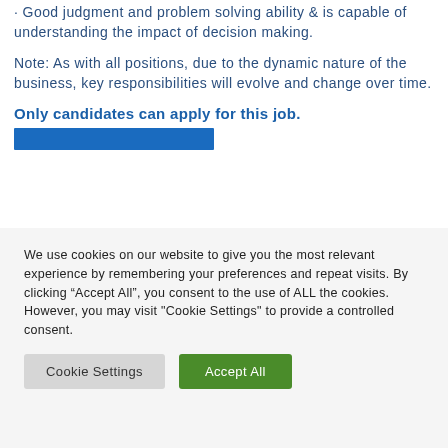· Good judgment and problem solving ability & is capable of understanding the impact of decision making.
Note: As with all positions, due to the dynamic nature of the business, key responsibilities will evolve and change over time.
Only candidates can apply for this job.
We use cookies on our website to give you the most relevant experience by remembering your preferences and repeat visits. By clicking “Accept All”, you consent to the use of ALL the cookies. However, you may visit "Cookie Settings" to provide a controlled consent.